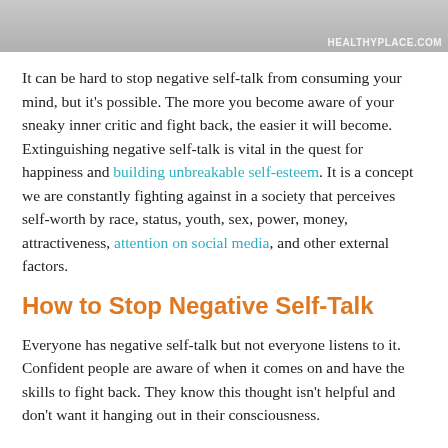[Figure (photo): Partial image of chairs/stools at top of page with HEALTHYPLACE.COM watermark]
It can be hard to stop negative self-talk from consuming your mind, but it's possible. The more you become aware of your sneaky inner critic and fight back, the easier it will become. Extinguishing negative self-talk is vital in the quest for happiness and building unbreakable self-esteem. It is a concept we are constantly fighting against in a society that perceives self-worth by race, status, youth, sex, power, money, attractiveness, attention on social media, and other external factors.
How to Stop Negative Self-Talk
Everyone has negative self-talk but not everyone listens to it. Confident people are aware of when it comes on and have the skills to fight back. They know this thought isn't helpful and don't want it hanging out in their consciousness.